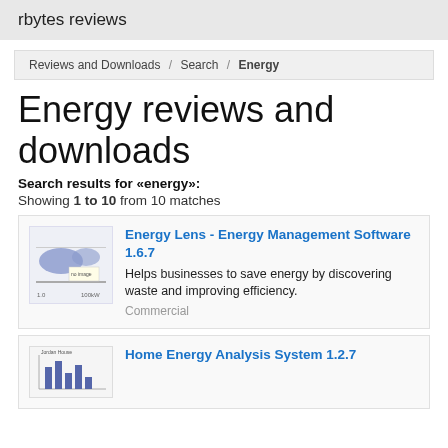rbytes reviews
Reviews and Downloads / Search / Energy
Energy reviews and downloads
Search results for «energy»:
Showing 1 to 10 from 10 matches
Energy Lens - Energy Management Software 1.6.7
Helps businesses to save energy by discovering waste and improving efficiency.
Commercial
Home Energy Analysis System 1.2.7